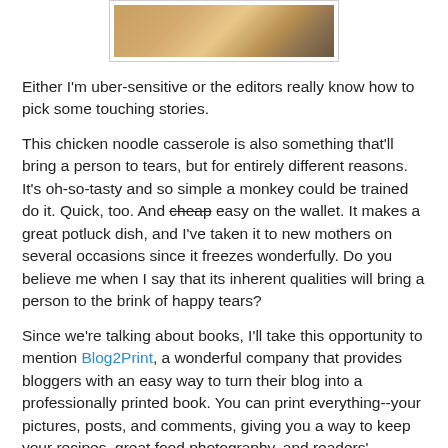[Figure (photo): Partial photo of what appears to be a chicken or animal dish, shown in a white-bordered photo frame at the top of the page.]
Either I'm uber-sensitive or the editors really know how to pick some touching stories.
This chicken noodle casserole is also something that'll bring a person to tears, but for entirely different reasons. It's oh-so-tasty and so simple a monkey could be trained do it. Quick, too. And cheap easy on the wallet. It makes a great potluck dish, and I've taken it to new mothers on several occasions since it freezes wonderfully. Do you believe me when I say that its inherent qualities will bring a person to the brink of happy tears?
Since we're talking about books, I'll take this opportunity to mention Blog2Print, a wonderful company that provides bloggers with an easy way to turn their blog into a professionally printed book. You can print everything--your pictures, posts, and comments, giving you a way to keep your recipes, great food photography, and readers' reactions to your recipes together in a book.